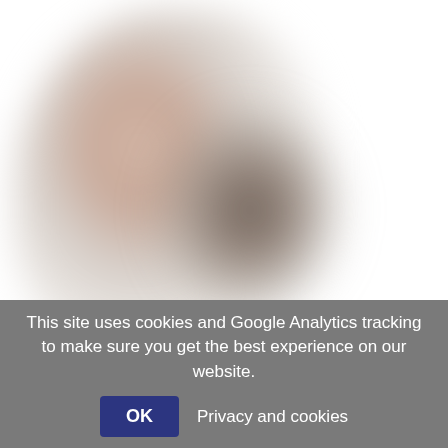[Figure (photo): Blurred photograph of a printmaking-related object or craft item, showing warm beige/brown tones with a dark central element, heavily blurred]
dlr / Graphic Studio Dublin: Printmaking at home workshop
Adult • Educational • Kids • Printmaking • Teens • Visual
Add to my list
[Figure (photo): Partial blurred image visible at bottom of content area, light beige tones]
This site uses cookies and Google Analytics tracking to make sure you get the best experience on our website.
OK  Privacy and cookies